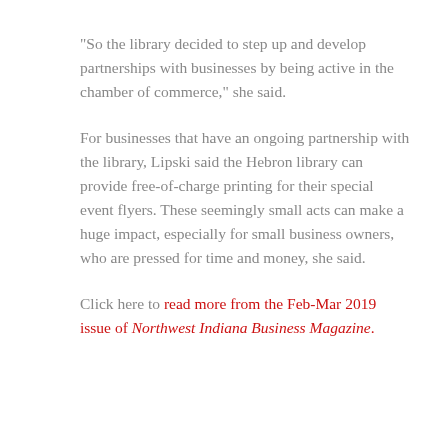“So the library decided to step up and develop partnerships with businesses by being active in the chamber of commerce,” she said.
For businesses that have an ongoing partnership with the library, Lipski said the Hebron library can provide free-of-charge printing for their special event flyers. These seemingly small acts can make a huge impact, especially for small business owners, who are pressed for time and money, she said.
Click here to read more from the Feb-Mar 2019 issue of Northwest Indiana Business Magazine.